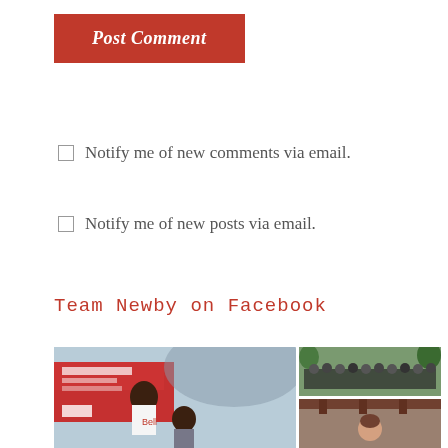Post Comment
Notify me of new comments via email.
Notify me of new posts via email.
Team Newby on Facebook
[Figure (photo): Left: Two people with curly hair in front of a red Bell/United Way sign. Top-right: Group photo of people in dark t-shirts outdoors. Bottom-right: A person indoors.]